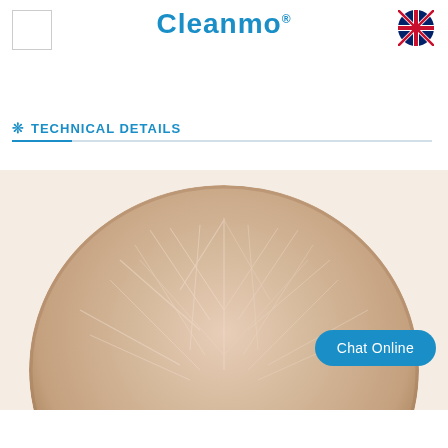Cleanmo® [logo box] [UK flag]
❊ TECHNICAL DETAILS
[Figure (photo): Close-up macro photograph of a circular nonwoven or foam cleaning swab head, showing fibrous texture in beige/cream tones]
Chat Online